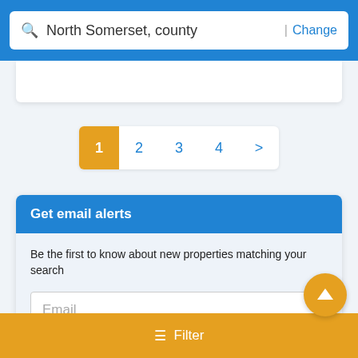[Figure (screenshot): Search bar with 'North Somerset, county' text and a Change link on blue background]
[Figure (other): Pagination control showing pages 1, 2, 3, 4 and > with page 1 highlighted in yellow/orange]
Get email alerts
Be the first to know about new properties matching your search
Email
On subscribing you accept the conditions of use and the privacy policy
I'd like to receive news of related products that might interest me
[Figure (other): Filter button bar in yellow/orange with filter icon and text 'Filter']